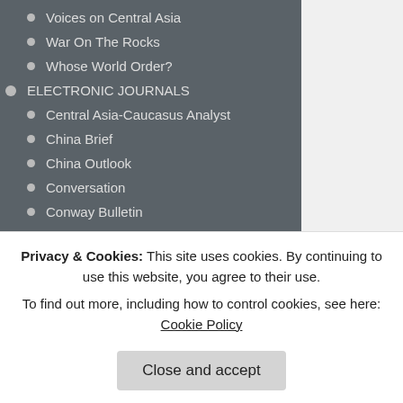Voices on Central Asia
War On The Rocks
Whose World Order?
ELECTRONIC JOURNALS
Central Asia-Caucasus Analyst
China Brief
China Outlook
Conversation
Conway Bulletin
CTC Sentinel
East Asia Forum
ISN
Open Democracy
Orizzonte Cina
Perspectives on Terrorism
They reject taxes, ru... are often ardent supp... believe in the party s...
The Patriot moveme... and militias that exis...
Privacy & Cookies: This site uses cookies. By continuing to use this website, you agree to their use. To find out more, including how to control cookies, see here: Cookie Policy
Close and accept